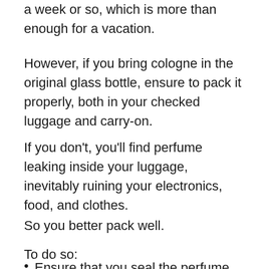a week or so, which is more than enough for a vacation.
However, if you bring cologne in the original glass bottle, ensure to pack it properly, both in your checked luggage and carry-on.
If you don't, you'll find perfume leaking inside your luggage, inevitably ruining your electronics, food, and clothes.
So you better pack well.
To do so:
Ensure that you seal the perfume bottle